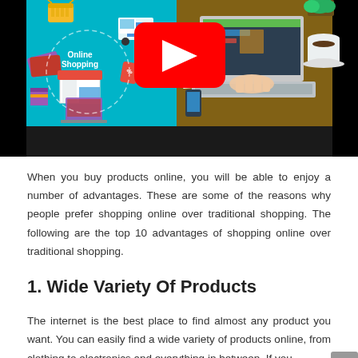[Figure (illustration): A YouTube video thumbnail showing two images side by side: left side shows an online shopping infographic with teal background, shopping cart, delivery truck, credit cards, laptop, and 'Online Shopping' text; right side shows a photo of hands typing on a laptop from above with coffee, phone, and notebook on a wooden desk. A large red YouTube play button overlays the center.]
When you buy products online, you will be able to enjoy a number of advantages. These are some of the reasons why people prefer shopping online over traditional shopping. The following are the top 10 advantages of shopping online over traditional shopping.
1. Wide Variety Of Products
The internet is the best place to find almost any product you want. You can easily find a wide variety of products online, from clothing to electronics and everything in between. If you